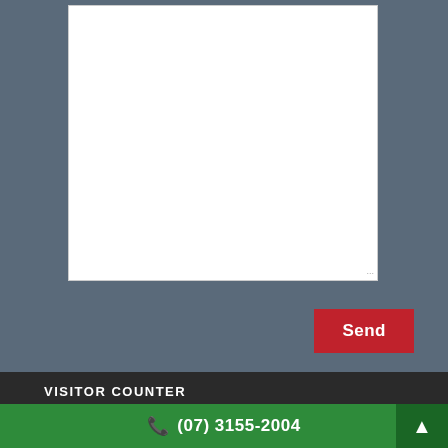[Figure (screenshot): White textarea input box with resize handle in bottom-right corner, on a slate-blue background]
[Figure (screenshot): Red Send button on slate-blue background]
VISITOR COUNTER
ONLINE USERS: 1
TODAY'S VISITORS: 12
YESTERDAY'S VISITORS: 13
(07) 3155-2004